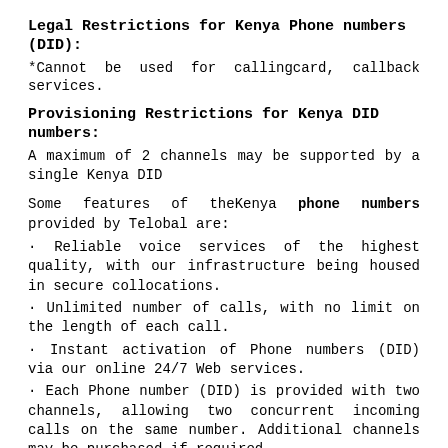Legal Restrictions for Kenya Phone numbers (DID):
*Cannot be used for callingcard, callback services.
Provisioning Restrictions for Kenya DID numbers:
A maximum of 2 channels may be supported by a single Kenya DID
Some features of theKenya phone numbers provided by Telobal are:
· Reliable voice services of the highest quality, with our infrastructure being housed in secure collocations.
· Unlimited number of calls, with no limit on the length of each call.
· Instant activation of Phone numbers (DID) via our online 24/7 Web services.
· Each Phone number (DID) is provided with two channels, allowing two concurrent incoming calls on the same number. Additional channels may be purchased if required.
· The call forwarding destination for a Phone number